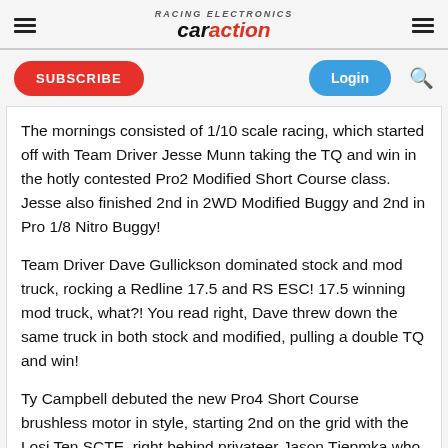car action
The mornings consisted of 1/10 scale racing, which started off with Team Driver Jesse Munn taking the TQ and win in the hotly contested Pro2 Modified Short Course class. Jesse also finished 2nd in 2WD Modified Buggy and 2nd in Pro 1/8 Nitro Buggy!
Team Driver Dave Gullickson dominated stock and mod truck, rocking a Redline 17.5 and RS ESC! 17.5 winning mod truck, what?! You read right, Dave threw down the same truck in both stock and modified, pulling a double TQ and win!
Ty Campbell debuted the new Pro4 Short Course brushless motor in style, starting 2nd on the grid with the Losi Ten SCTE, right behind privateer Jason Tjepmka who